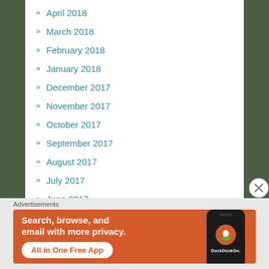April 2018
March 2018
February 2018
January 2018
December 2017
November 2017
October 2017
September 2017
August 2017
July 2017
June 2017
Advertisements
[Figure (illustration): DuckDuckGo advertisement banner with orange background. Text reads 'Search, browse, and email with more privacy. All in One Free App' with a phone showing the DuckDuckGo logo.]